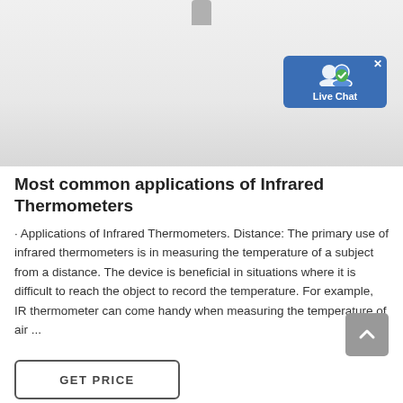[Figure (photo): Product image of an infrared thermometer, light grey/white background, top of the device visible at the top center]
[Figure (other): Live Chat button widget, blue background with white icon of two people and a checkmark badge, 'Live Chat' text, close X in top right corner]
Most common applications of Infrared Thermometers
· Applications of Infrared Thermometers. Distance: The primary use of infrared thermometers is in measuring the temperature of a subject from a distance. The device is beneficial in situations where it is difficult to reach the object to record the temperature. For example, IR thermometer can come handy when measuring the temperature of air ...
[Figure (other): Scroll to top button, grey rounded square with white upward chevron arrow]
GET PRICE